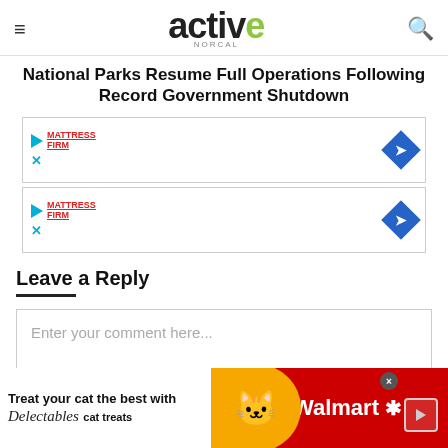active NORCAL
National Parks Resume Full Operations Following Record Government Shutdown
[Figure (other): Mattress Firm advertisement banner with play button, brand logo, X close button, and blue diamond arrow icon]
[Figure (other): Mattress Firm advertisement banner with play button, brand logo, X close button, and blue diamond arrow icon]
Leave a Reply
Enter your comment here...
[Figure (other): Walmart advertisement banner: Treat your cat the best with Delectables cat treats, with cat image and Walmart logo on red background]